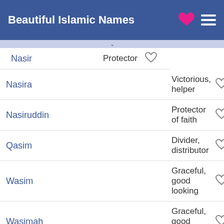Beautiful Islamic Names
| Name | Meaning |  |
| --- | --- | --- |
| Nasir | Protector | ♡ |
| Nasira | Victorious, helper | ♡ |
| Nasiruddin | Protector of faith | ♡ |
| Qasim | Divider, distributor | ♡ |
| Wasim | Graceful, good looking | ♡ |
| Wasimah | Graceful, good looking | ♡ |
| Yasin | A Prophet's name | ♡ |
| Yasir | Easy, blessed, living well | ♡ |
| Yasirah | Easy, blessed, living well | ♡ |